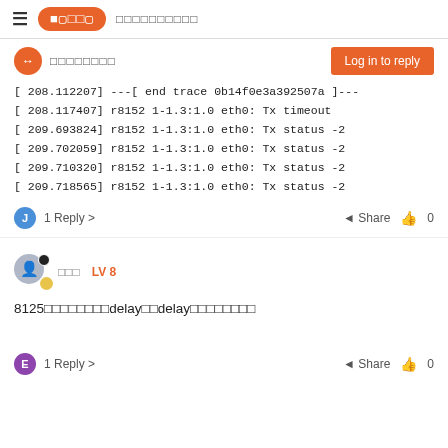≡  FAXOL  □□□□□□□□□□
□□□□□□□□
Log in to reply
[ 208.112207] ---[ end trace 0b14f0e3a392507a ]---
[ 208.117407] r8152 1-1.3:1.0 eth0: Tx timeout
[ 209.693824] r8152 1-1.3:1.0 eth0: Tx status -2
[ 209.702059] r8152 1-1.3:1.0 eth0: Tx status -2
[ 209.710320] r8152 1-1.3:1.0 eth0: Tx status -2
[ 209.718565] r8152 1-1.3:1.0 eth0: Tx status -2
J  1 Reply >  Share  0
□□□  LV 8
8125□□□□□□□□delay□□delay□□□□□□□□
E  1 Reply >  Share  0